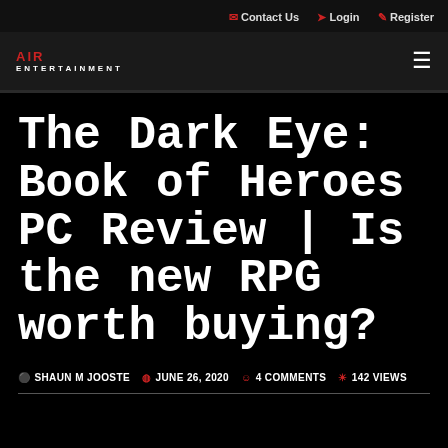Contact Us  Login  Register
[Figure (logo): AIR ENTERTAINMENT logo with red AIR text and white ENTERTAINMENT text]
The Dark Eye: Book of Heroes PC Review | Is the new RPG worth buying?
SHAUN M JOOSTE  JUNE 26, 2020  4 COMMENTS  142 VIEWS